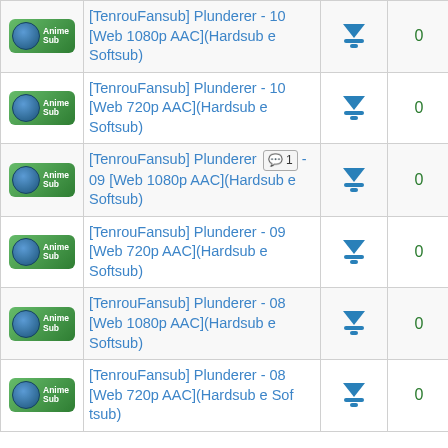| Category | Title | Download | Seeders | Leechers |
| --- | --- | --- | --- | --- |
| Anime Sub | [TenrouFansub] Plunderer - 10 [Web 1080p AAC](Hardsub e Softsub) | ↓ | 0 | 0 |
| Anime Sub | [TenrouFansub] Plunderer - 10 [Web 720p AAC](Hardsub e Softsub) | ↓ | 0 | 0 |
| Anime Sub | [TenrouFansub] Plunderer - 09 [Web 1080p AAC](Hardsub e Softsub) [1 comment] | ↓ | 0 | 0 |
| Anime Sub | [TenrouFansub] Plunderer - 09 [Web 720p AAC](Hardsub e Softsub) | ↓ | 0 | 0 |
| Anime Sub | [TenrouFansub] Plunderer - 08 [Web 1080p AAC](Hardsub e Softsub) | ↓ | 0 | 0 |
| Anime Sub | [TenrouFansub] Plunderer - 08 [Web 720p AAC](Hardsub e Sof tsub) | ↓ | 0 | 0 |